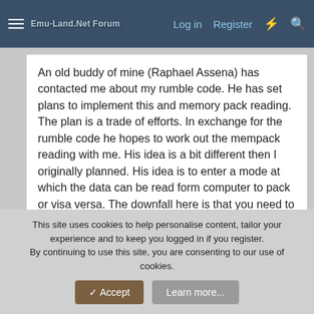≡  [Logo] Emu-Land Forum    Log in   Register  ⚡  🔍
An old buddy of mine (Raphael Assena) has contacted me about my rumble code. He has set plans to implement this and memory pack reading. The plan is a trade of efforts. In exchange for the rumble code he hopes to work out the mempack reading with me. His idea is a bit different then I originally planned. His idea is to enter a mode at which the data can be read form computer to pack or visa versa. The downfall here is that you need to do this before you use the data. For example before you start the emulators. It would be much like saving you data to a disk and going to a friends house. You then put the data on his system and play... Though the plus is that is can be done via vender requests and no need for mass storage. Also you would be able to use
This site uses cookies to help personalise content, tailor your experience and to keep you logged in if you register.
By continuing to use this site, you are consenting to our use of cookies.